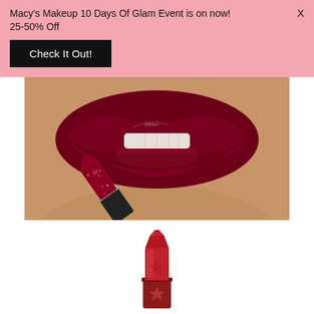Macy's Makeup 10 Days Of Glam Event is on now! 25-50% Off
Check It Out!
[Figure (photo): Close-up photo of model's lips wearing deep dark red/burgundy lipstick being applied with a glittery dark red lipstick bullet]
[Figure (photo): Product shot of a red lipstick bullet with star emboss detail on a red case/tube, partially extended]